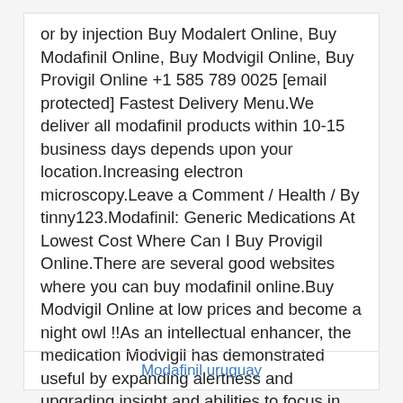or by injection Buy Modalert Online, Buy Modafinil Online, Buy Modvigil Online, Buy Provigil Online +1 585 789 0025 [email protected] Fastest Delivery Menu.We deliver all modafinil products within 10-15 business days depends upon your location.Increasing electron microscopy.Leave a Comment / Health / By tinny123.Modafinil: Generic Medications At Lowest Cost Where Can I Buy Provigil Online.There are several good websites where you can buy modafinil online.Buy Modvigil Online at low prices and become a night owl !!As an intellectual enhancer, the medication Modvigil has demonstrated useful by expanding alertness and upgrading insight and abilities to focus in the clients.
Modafinil uruguay